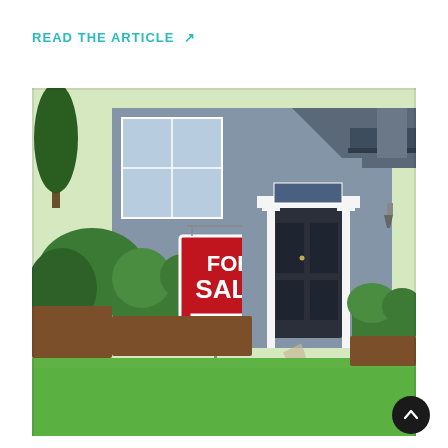READ THE ARTICLE ↗
[Figure (photo): A 'For Sale By Owner' sign on a post in the front yard of a suburban house. The sign is red and white with bold white text reading FOR SALE BY OWNER. Behind it is a gray-blue house with white trim, a dark front door with columns, and manicured green shrubs and lawn.]